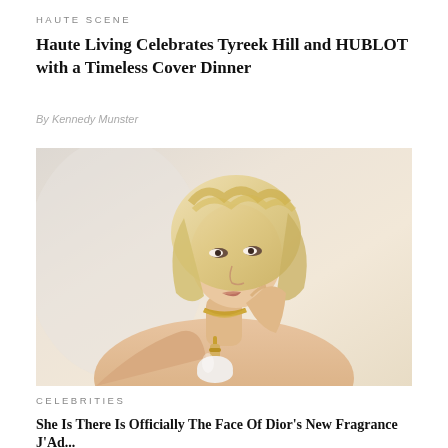HAUTE SCENE
Haute Living Celebrates Tyreek Hill and HUBLOT with a Timeless Cover Dinner
By Kennedy Munster
[Figure (photo): A blonde woman holding a perfume bottle, shot against a warm gradient background. She is partially bare-shouldered with a gold necklace, posing in a beauty/fragrance advertisement style.]
CELEBRITIES
She Is There Is Officially The Face Of Dior's New Fragrance J'Ad...